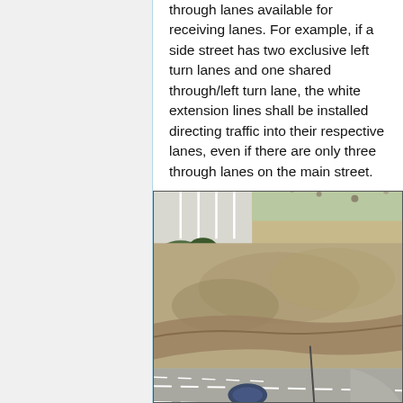through lanes available for receiving lanes. For example, if a side street has two exclusive left turn lanes and one shared through/left turn lane, the white extension lines shall be installed directing traffic into their respective lanes, even if there are only three through lanes on the main street.
[Figure (photo): Aerial photograph showing an intersection with a road, vehicles, lane markings, and surrounding terrain including an embankment with exposed earth.]